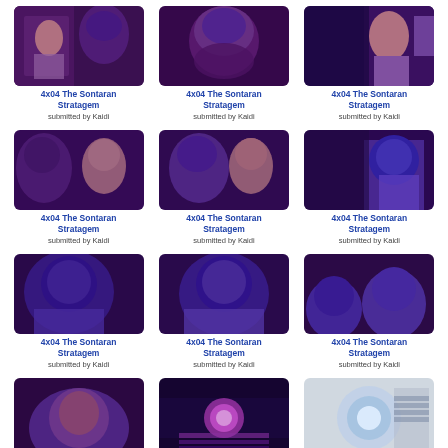[Figure (photo): TV screenshot - young person with alien figure, purple tones]
4x04 The Sontaran Stratagem
submitted by Kaidi
[Figure (photo): TV screenshot - bald alien face, purple tones]
4x04 The Sontaran Stratagem
submitted by Kaidi
[Figure (photo): TV screenshot - young person profile, purple tones]
4x04 The Sontaran Stratagem
submitted by Kaidi
[Figure (photo): TV screenshot - alien and young person facing each other, purple tones]
4x04 The Sontaran Stratagem
submitted by Kaidi
[Figure (photo): TV screenshot - alien and young person, slightly different angle, purple tones]
4x04 The Sontaran Stratagem
submitted by Kaidi
[Figure (photo): TV screenshot - armored figure with weapon, purple tones]
4x04 The Sontaran Stratagem
submitted by Kaidi
[Figure (photo): TV screenshot - helmeted armored figure close up, purple tones]
4x04 The Sontaran Stratagem
submitted by Kaidi
[Figure (photo): TV screenshot - helmeted armored figure slightly different angle, purple tones]
4x04 The Sontaran Stratagem
submitted by Kaidi
[Figure (photo): TV screenshot - two armored figures, purple tones]
4x04 The Sontaran Stratagem
submitted by Kaidi
[Figure (photo): TV screenshot - alien creature face, purple tones]
[Figure (photo): TV screenshot - glowing circular device in dark scene]
[Figure (photo): TV screenshot - glowing orb/hologram, lighter tones]